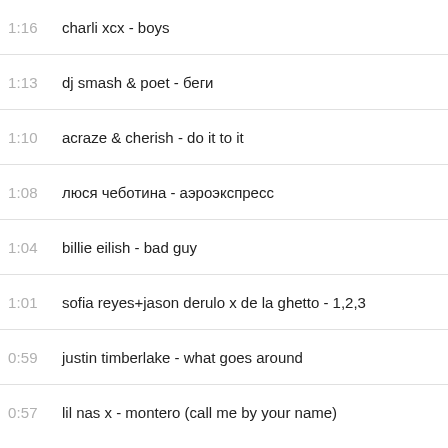1:16  charli xcx - boys
1:13  dj smash & poet - беги
1:10  acraze & cherish - do it to it
1:08  люся чеботина - аэроэкспресс
1:04  billie eilish - bad guy
1:01  sofia reyes+jason derulo x de la ghetto - 1,2,3
0:59  justin timberlake - what goes around
0:57  lil nas x - montero (call me by your name)